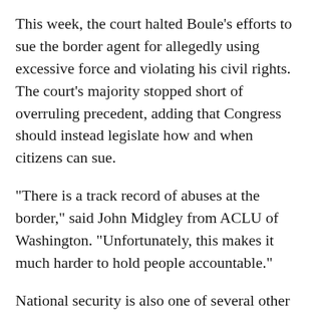This week, the court halted Boule's efforts to sue the border agent for allegedly using excessive force and violating his civil rights. The court's majority stopped short of overruling precedent, adding that Congress should instead legislate how and when citizens can sue.
"There is a track record of abuses at the border," said John Midgley from ACLU of Washington. "Unfortunately, this makes it much harder to hold people accountable."
National security is also one of several other arguments that swayed six justices to side with the agent, whereas three justices dissented. The opposition insisted the ruling leaves citizens with no meaningful recourse should agents violate civil liberties.